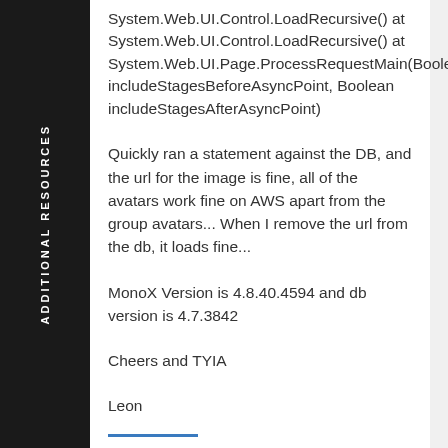System.Web.UI.Control.LoadRecursive() at System.Web.UI.Control.LoadRecursive() at System.Web.UI.Page.ProcessRequestMain(Boolean includeStagesBeforeAsyncPoint, Boolean includeStagesAfterAsyncPoint)
Quickly ran a statement against the DB, and the url for the image is fine, all of the avatars work fine on AWS apart from the group avatars... When I remove the url from the db, it loads fine...
MonoX Version is 4.8.40.4594 and db version is 4.7.3842
Cheers and TYIA
Leon